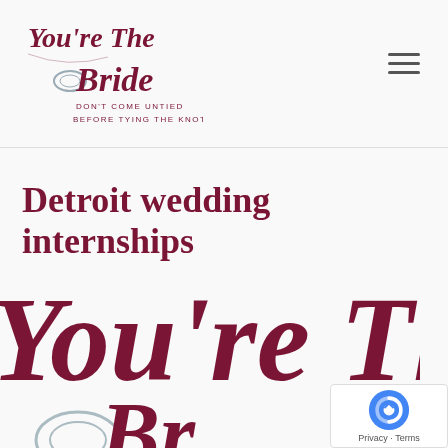[Figure (logo): You're The Bride script logo with diamond ring illustration and tagline DON'T COME UNTIED BEFORE TYING THE KNOT!]
Detroit wedding internships
[Figure (logo): Large You're The Bride script logo (cropped, bottom half of page)]